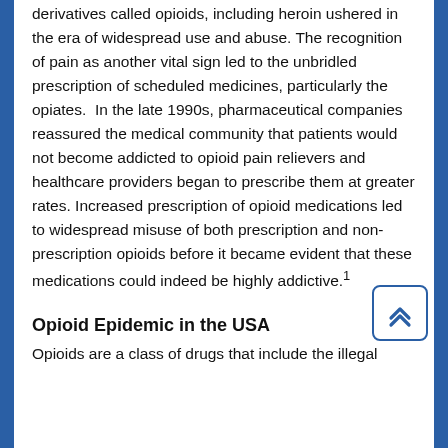derivatives called opioids, including heroin ushered in the era of widespread use and abuse. The recognition of pain as another vital sign led to the unbridled prescription of scheduled medicines, particularly the opiates. In the late 1990s, pharmaceutical companies reassured the medical community that patients would not become addicted to opioid pain relievers and healthcare providers began to prescribe them at greater rates. Increased prescription of opioid medications led to widespread misuse of both prescription and non-prescription opioids before it became evident that these medications could indeed be highly addictive.1
Opioid Epidemic in the USA
Opioids are a class of drugs that include the illegal